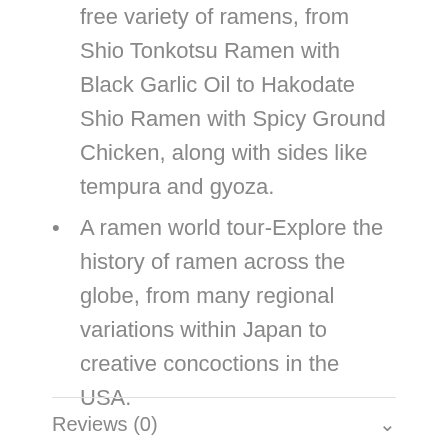free variety of ramens, from Shio Tonkotsu Ramen with Black Garlic Oil to Hakodate Shio Ramen with Spicy Ground Chicken, along with sides like tempura and gyoza.
A ramen world tour-Explore the history of ramen across the globe, from many regional variations within Japan to creative concoctions in the USA.
Create the flavor-packed ramen bowl of your dreams with the ultimate ramen cookbook.
Add to wishlist
Reviews (0)